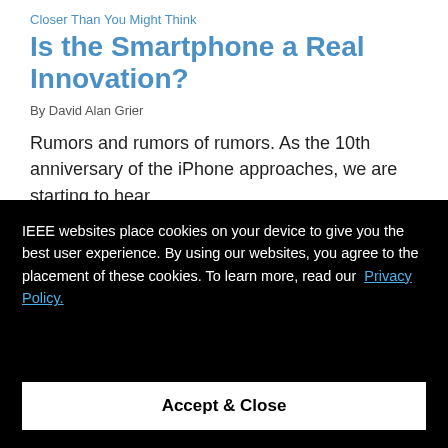Closer Than You Might Think
Is the Smartphone a Real Innovation?
By David Alan Grier
Rumors and rumors of rumors. As the 10th anniversary of the iPhone approaches, we are starting to hear
IEEE websites place cookies on your device to give you the best user experience. By using our websites, you agree to the placement of these cookies. To learn more, read our Privacy Policy.
Accept & Close